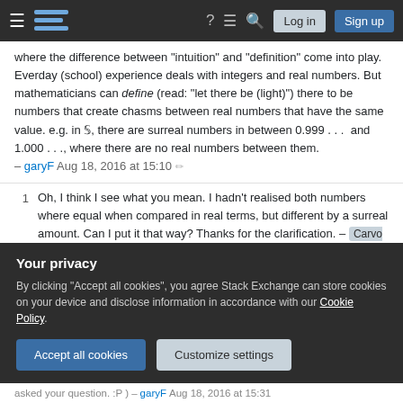Stack Exchange navigation bar with Log in and Sign up buttons
where the difference between "intuition" and "definition" come into play. Everday (school) experience deals with integers and real numbers. But mathematicians can define (read: "let there be (light)") there to be numbers that create chasms between real numbers that have the same value. e.g. in S, there are surreal numbers in between 0.999... and 1.000..., where there are no real numbers between them. – garyF Aug 18, 2016 at 15:10
Oh, I think I see what you mean. I hadn't realised both numbers where equal when compared in real terms, but different by a surreal amount. Can I put it that way? Thanks for the clarification. – Carvo Loco Aug 18, 2016 at 15:34
Your privacy
By clicking "Accept all cookies", you agree Stack Exchange can store cookies on your device and disclose information in accordance with our Cookie Policy.
asked your question. :P ) – garyF Aug 18, 2016 at 15:31